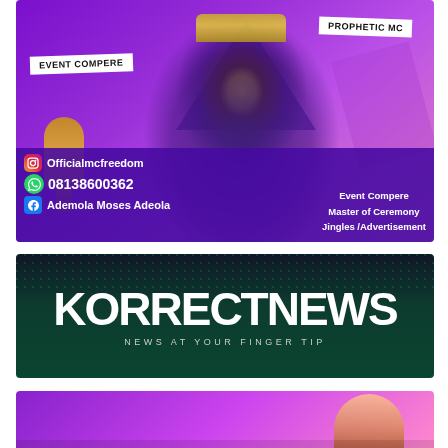[Figure (photo): Promotional banner for MC Freedom - Event Compere and Prophetic MC. Shows a man in traditional cap speaking into a microphone against purple background. Tags: EVENT COMPERE and PROPHETIC MC. Social media contacts: Instagram @Officialmcfreedom, WhatsApp 08138600362, Facebook Ademola Moses Adeola. Services: Event Compere, Master of Ceremony, Jingles/Advertisement.]
EVENT COMPERE
PROPHETIC MC
@Officialmcfreedom
08138600362
Ademola Moses Adeola
Event Compere
Master of Ceremony
Jingles /Advertisement
[Figure (logo): KorrectNews logo banner. Dark green background with white bold text KORRECT NEWS and subtitle NEWS AT YOUR FINGER TIP.]
KORRECTNEWS
NEWS AT YOUR FINGER TIP
[Figure (photo): Bottom partial banner with purple gradient background, partially visible.]